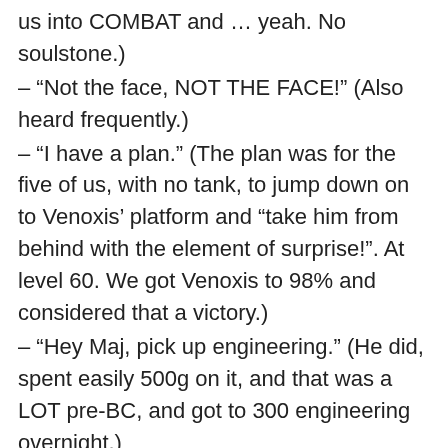us into COMBAT and … yeah. No soulstone.)
– “Not the face, NOT THE FACE!” (Also heard frequently.)
– “I have a plan.” (The plan was for the five of us, with no tank, to jump down on to Venoxis’ platform and “take him from behind with the element of surprise!”. At level 60. We got Venoxis to 98% and considered that a victory.)
– “Hey Maj, pick up engineering.” (He did, spent easily 500g on it, and that was a LOT pre-BC, and got to 300 engineering overnight.)
– “Who’s up for a Venoxis run? C’mon guys, 20 minutes, you get rep, bijous, chance at loot!” (This was frighteningly commonplace, since we only ran ZG officially one day a week. Why did Majik want to do Venoxis? Just one reason: